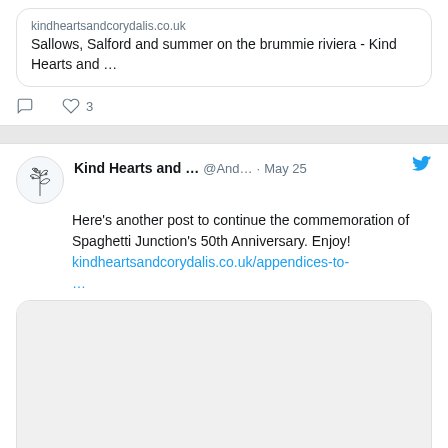kindheartsandcorydalis.co.uk
Sallows, Salford and summer on the brummie riviera - Kind Hearts and …
♡ 3
Kind Hearts and … @And… · May 25
Here's another post to continue the commemoration of Spaghetti Junction's 50th Anniversary. Enjoy!
kindheartsandcorydalis.co.uk/appendices-to-…
[Figure (screenshot): Link preview card with empty image area and URL: kindheartsandcorydalis.co.uk]